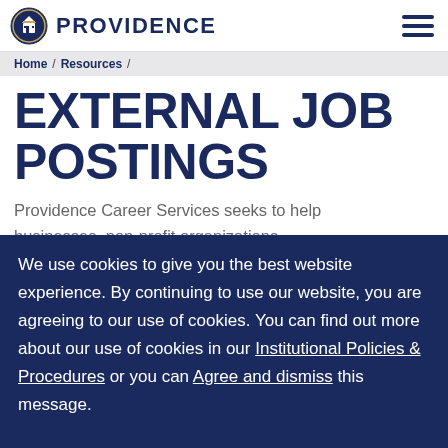PROVIDENCE
Home / Resources /
EXTERNAL JOB POSTINGS
Providence Career Services seeks to help businesses, non-profit organizations,
We use cookies to give you the best website experience. By continuing to use our website, you are agreeing to our use of cookies. You can find out more about our use of cookies in our Institutional Policies & Procedures or you can Agree and dismiss this message.